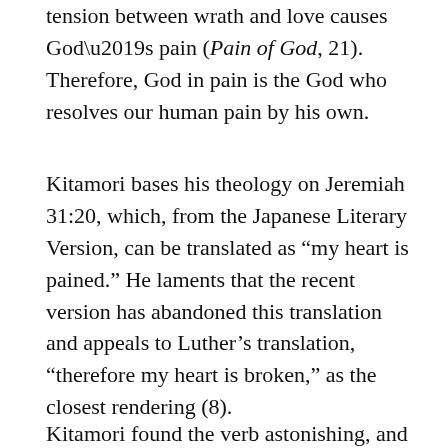tension between wrath and love causes God’s pain (Pain of God, 21). Therefore, God in pain is the God who resolves our human pain by his own.
Kitamori bases his theology on Jeremiah 31:20, which, from the Japanese Literary Version, can be translated as “my heart is pained.” He laments that the recent version has abandoned this translation and appeals to Luther’s translation, “therefore my heart is broken,” as the closest rendering (8).
Kitamori found the verb astonishing, and